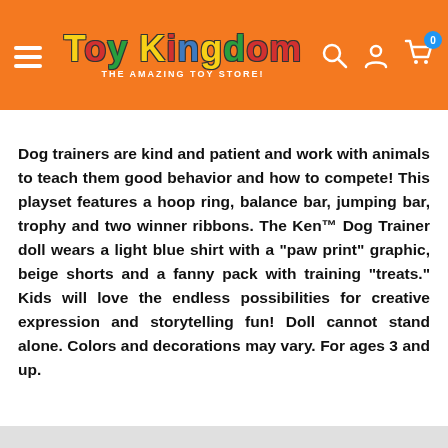[Figure (logo): Toy Kingdom - The Amazing Toy Store logo on orange navigation header bar with menu icon, search icon, account icon, and cart icon with badge showing 0]
Dog trainers are kind and patient and work with animals to teach them good behavior and how to compete! This playset features a hoop ring, balance bar, jumping bar, trophy and two winner ribbons. The Ken™ Dog Trainer doll wears a light blue shirt with a "paw print" graphic, beige shorts and a fanny pack with training "treats." Kids will love the endless possibilities for creative expression and storytelling fun! Doll cannot stand alone. Colors and decorations may vary. For ages 3 and up.